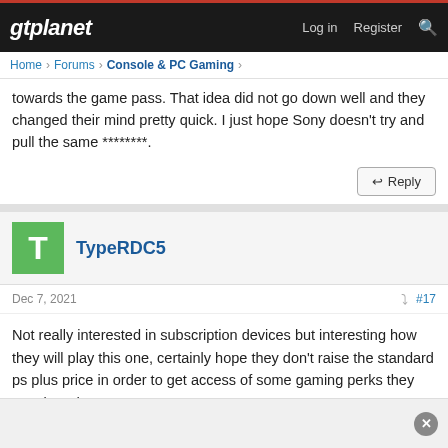gtplanet | Log in  Register
Home > Forums > Console & PC Gaming >
towards the game pass. That idea did not go down well and they changed their mind pretty quick. I just hope Sony doesn't try and pull the same ********.
Reply
TypeRDC5
Dec 7, 2021
#17
Not really interested in subscription devices but interesting how they will play this one, certainly hope they don't raise the standard ps plus price in order to get access of some gaming perks they may introduce.